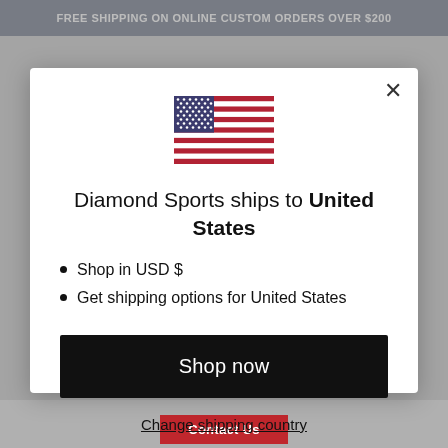FREE SHIPPING ON ONLINE CUSTOM ORDERS OVER $200
[Figure (illustration): US flag emoji/icon displayed in the modal dialog]
Diamond Sports ships to United States
Shop in USD $
Get shipping options for United States
Shop now
Change shipping country
Contact Us